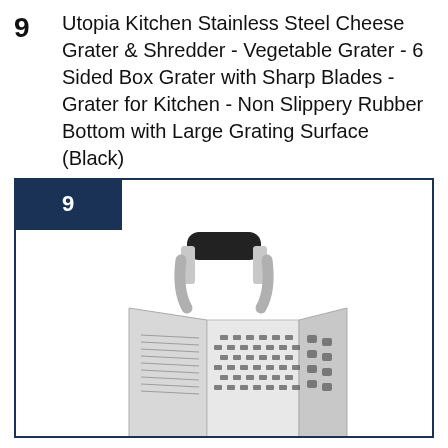9   Utopia Kitchen Stainless Steel Cheese Grater & Shredder - Vegetable Grater - 6 Sided Box Grater with Sharp Blades - Grater for Kitchen - Non Slippery Rubber Bottom with Large Grating Surface (Black)
[Figure (photo): Product photo of a 6-sided stainless steel box cheese grater with a black rubber handle on top, showing multiple grating surfaces and a red product label reading 'Cheese Grater'. Number badge '9' in dark navy box in upper left corner.]